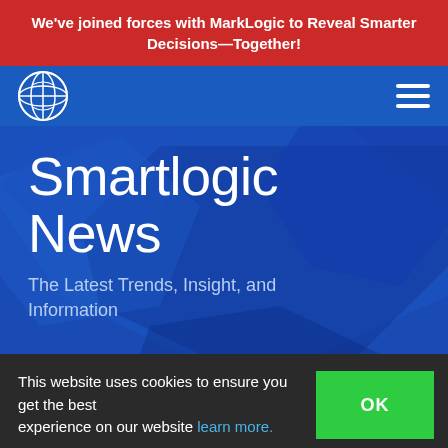We've joined forces with MarkLogic to Reveal Smarter Decisions—Together!
[Figure (logo): Smartlogic logo - circular globe/network icon in white on blue background]
Smartlogic News
The Latest Trends, Insight, and Information
This website uses cookies to ensure you get the best experience on our website learn more. OK